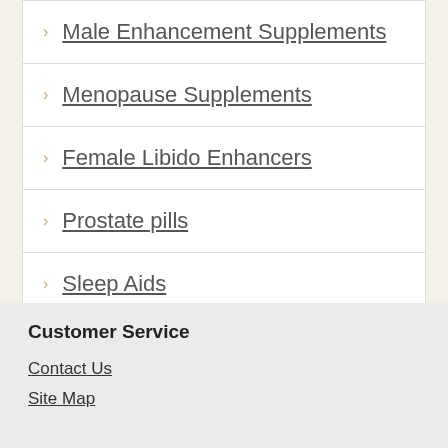Male Enhancement Supplements
Menopause Supplements
Female Libido Enhancers
Prostate pills
Sleep Aids
Customer Service
Contact Us
Site Map